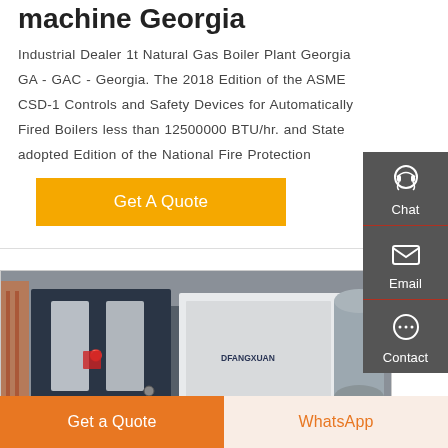machine Georgia
Industrial Dealer 1t Natural Gas Boiler Plant Georgia GA - GAC - Georgia. The 2018 Edition of the ASME CSD-1 Controls and Safety Devices for Automatically Fired Boilers less than 12500000 BTU/hr. and State adopted Edition of the National Fire Protection
Get A Quote
[Figure (photo): Industrial natural gas boiler units in a factory setting, showing large dark blue/grey boiler machines with silver panels and branding text]
Chat
Email
Contact
Get a Quote
WhatsApp